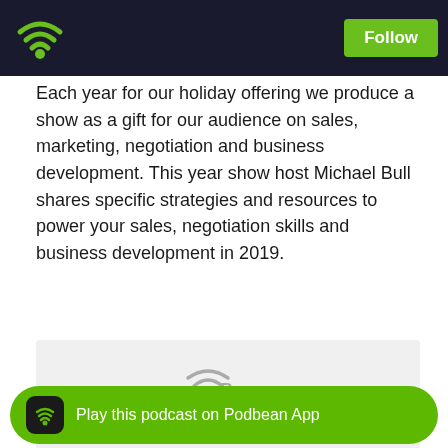PodBean - Follow
Each year for our holiday offering we produce a show as a gift for our audience on sales, marketing, negotiation and business development. This year show host Michael Bull shares specific strategies and resources to power your sales, negotiation skills and business development in 2019.
[Figure (screenshot): PodBean audio player widget with logo and playback dots]
Likes  Share  Download
Is Crowdfunding for You?
[Figure (photo): Close-up photo of rustic metal chain links on a wooden surface]
Play this podcast on Podbean App